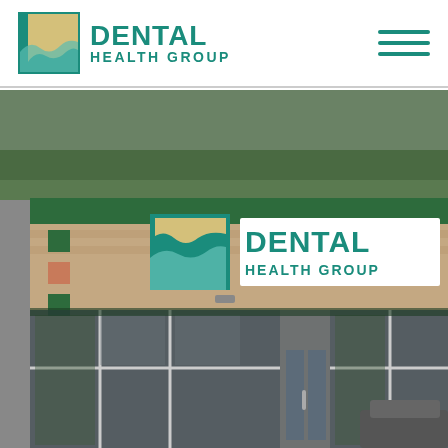[Figure (logo): Dental Health Group logo with teal/green square icon and teal text reading DENTAL HEALTH GROUP]
[Figure (photo): Exterior photograph of a Dental Health Group office building storefront with large glass windows, a green awning, brick facade with decorative tile accents, and a Dental Health Group sign above the entrance.]